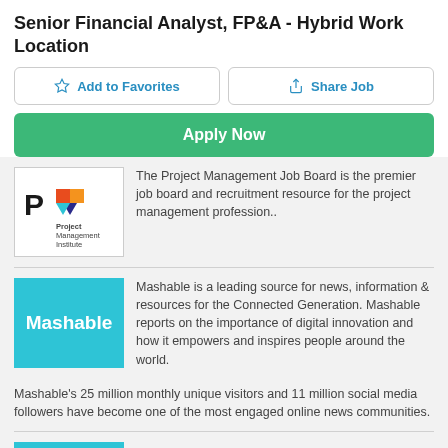Senior Financial Analyst, FP&A - Hybrid Work Location
Add to Favorites
Share Job
Apply Now
[Figure (logo): Project Management Institute logo with PMI icon and text]
The Project Management Job Board is the premier job board and recruitment resource for the project management profession..
[Figure (logo): Mashable logo - white text on cyan/teal background]
Mashable is a leading source for news, information & resources for the Connected Generation. Mashable reports on the importance of digital innovation and how it empowers and inspires people around the world. Mashable's 25 million monthly unique visitors and 11 million social media followers have become one of the most engaged online news communities.
[Figure (logo): T&D World Job Center logo on cyan background]
T&D World Job Center is dedicated to